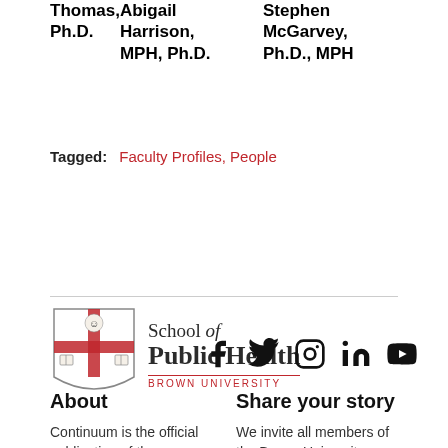Thomas, Ph.D.
Abigail Harrison, MPH, Ph.D.
Stephen McGarvey, Ph.D., MPH
Tagged: Faculty Profiles, People
[Figure (logo): Brown University School of Public Health logo with shield crest and text]
[Figure (logo): Social media icons: Facebook, Twitter, Instagram, LinkedIn, YouTube]
About
Share your story
Continuum is the official publication of the
We invite all members of the Brown University